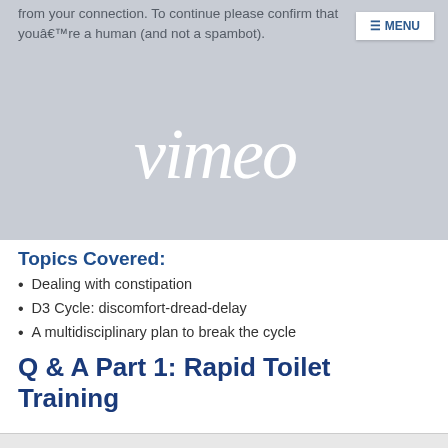[Figure (screenshot): Vimeo video placeholder with gray background, showing text 'from your connection. To continue please confirm that youâ€™re a human (and not a spambot).' and a MENU button in the top right. The Vimeo logo is displayed in white in the center of the placeholder.]
Topics Covered:
Dealing with constipation
D3 Cycle: discomfort-dread-delay
A multidisciplinary plan to break the cycle
Q & A Part 1: Rapid Toilet Training